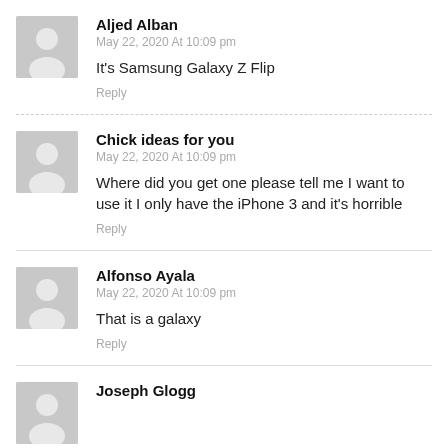Aljed Alban
May 22, 2020 At 10:09 pm
It's Samsung Galaxy Z Flip
Reply
Chick ideas for you
May 22, 2020 At 10:09 pm
Where did you get one please tell me I want to use it I only have the iPhone 3 and it's horrible
Reply
Alfonso Ayala
May 22, 2020 At 10:09 pm
That is a galaxy
Reply
Joseph Glogg